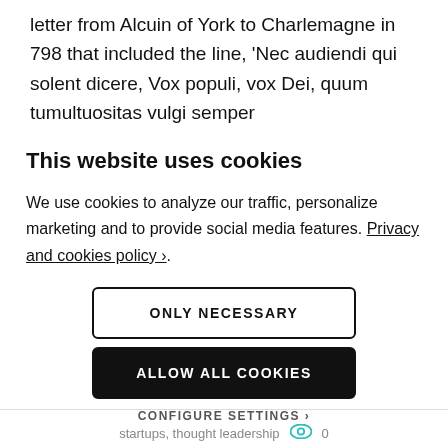letter from Alcuin of York to Charlemagne in 798 that included the line, ‘Nec audiendi qui solent dicere, Vox populi, vox Dei, quum tumultuositas vulgi semper
This website uses cookies
We use cookies to analyze our traffic, personalize marketing and to provide social media features. Privacy and cookies policy ›.
ONLY NECESSARY
ALLOW ALL COOKIES
CONFIGURE SETTINGS ›
startups, thought leadership  0